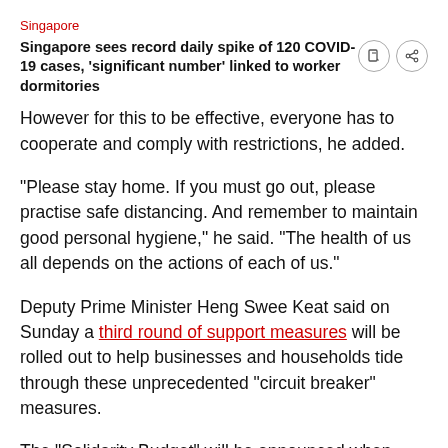Singapore
Singapore sees record daily spike of 120 COVID-19 cases, 'significant number' linked to worker dormitories
However for this to be effective, everyone has to cooperate and comply with restrictions, he added.
"Please stay home. If you must go out, please practise safe distancing. And remember to maintain good personal hygiene," he said. "The health of us all depends on the actions of each of us."
Deputy Prime Minister Heng Swee Keat said on Sunday a third round of support measures will be rolled out to help businesses and households tide through these unprecedented “circuit breaker” measures.
The “Solidarity Budget” will be announced when